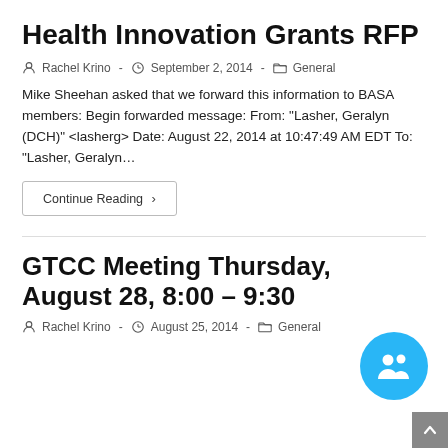Health Innovation Grants RFP
Rachel Krino - September 2, 2014 - General
Mike Sheehan asked that we forward this information to BASA members: Begin forwarded message: From: "Lasher, Geralyn (DCH)" <lasherg> Date: August 22, 2014 at 10:47:49 AM EDT To: "Lasher, Geralyn…
Continue Reading ›
GTCC Meeting Thursday, August 28, 8:00 – 9:30
Rachel Krino - August 25, 2014 - General